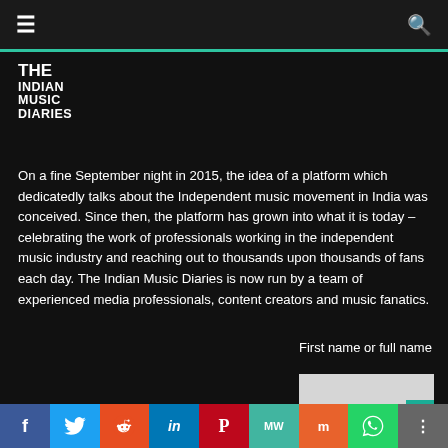THE INDIAN MUSIC DIARIES
On a fine September night in 2015, the idea of a platform which dedicatedly talks about the Independent music movement in India was conceived. Since then, the platform has grown into what it is today – celebrating the work of professionals working in the independent music industry and reaching out to thousands upon thousands of fans each day. The Indian Music Diaries is now run by a team of experienced media professionals, content creators and music fanatics.
First name or full name
f  Twitter  Reddit  in  Pinterest  MW  Mix  WhatsApp  Share